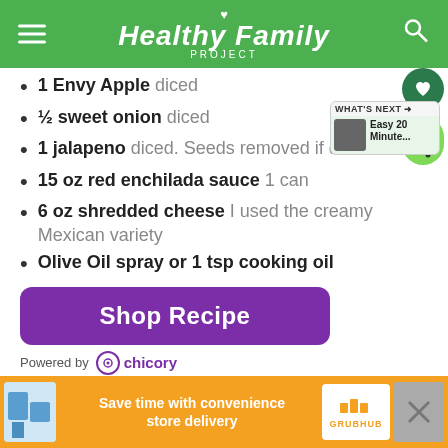Healthy Family PROJECT
1 Envy Apple diced
½ sweet onion diced
1 jalapeno diced. Seeds removed if desired
15 oz red enchilada sauce 1 can
6 oz shredded cheese I used the creamy Mexican variety
Olive Oil spray or 1 tsp cooking oil
Shop Recipe
Powered by chicory
Get ingredients with instacart
Save time with convenience store delivery GRUBHUB